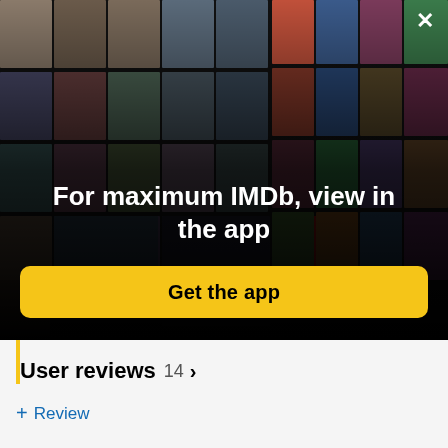[Figure (photo): IMDb app promotional banner showing a collage of celebrity photos and movie/TV posters arranged in a perspective grid on a black background, with an X close button in the top right corner]
For maximum IMDb, view in the app
Get the app
User reviews 14 >
+ Review